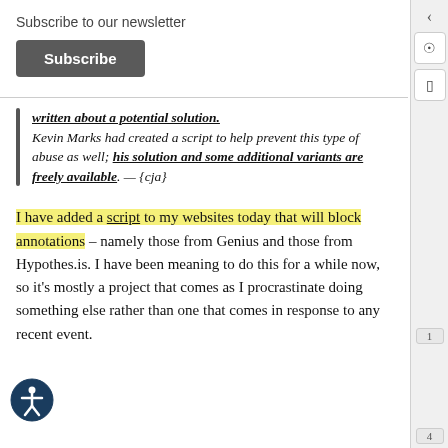Subscribe to our newsletter
Subscribe
written about a potential solution. Kevin Marks had created a script to help prevent this type of abuse as well; his solution and some additional variants are freely available. — {cja}
I have added a script to my websites today that will block annotations – namely those from Genius and those from Hypothes.is. I have been meaning to do this for a while now, so it's mostly a project that comes as I procrastinate doing something else rather than one that comes in response to any recent event.